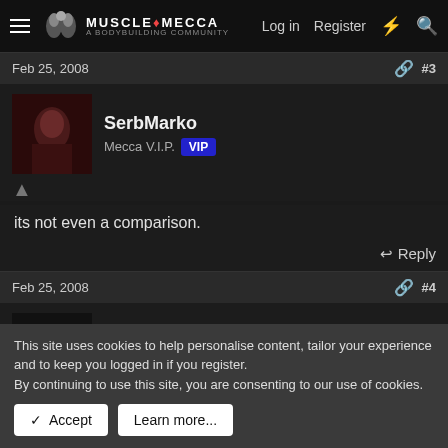Muscle Mecca — Log in | Register
Feb 25, 2008  #3
SerbMarko
Mecca V.I.P. VIP
its not even a comparison.
Reply
Feb 25, 2008  #4
Lionheart
Mecca V.I.P. VIP
This site uses cookies to help personalise content, tailor your experience and to keep you logged in if you register.
By continuing to use this site, you are consenting to our use of cookies.